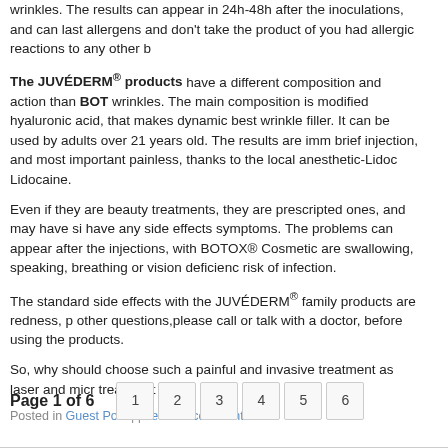wrinkles. The results can appear in 24h-48h after the inoculations, and can last allergens and don't take the product of you had allergic reactions to any other b
The JUVÉDERM® products have a different composition and action than BOT wrinkles. The main composition is modified hyaluronic acid, that makes dynamic best wrinkle filler. It can be used by adults over 21 years old. The results are imm brief injection, and most important painless, thanks to the local anesthetic-Lidoc Lidocaine.
Even if they are beauty treatments, they are prescripted ones, and may have si have any side effects symptoms. The problems can appear after the injections, with BOTOX® Cosmetic are swallowing, speaking, breathing or vision deficienc risk of infection.
The standard side effects with the JUVÉDERM® family products are redness, p other questions, please call or talk with a doctor, before using the products.
So, why should choose such a painful and invasive treatment as laser and micr treatment now?
Posted in Guest Post | | Leave a comment
Page 1 of 6
1 2 3 4 5 6